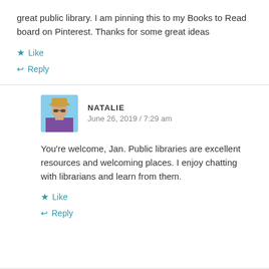great public library. I am pinning this to my Books to Read board on Pinterest. Thanks for some great ideas
★ Like
↩ Reply
NATALIE
June 26, 2019 / 7:29 am
You're welcome, Jan. Public libraries are excellent resources and welcoming places. I enjoy chatting with librarians and learn from them.
★ Like
↩ Reply